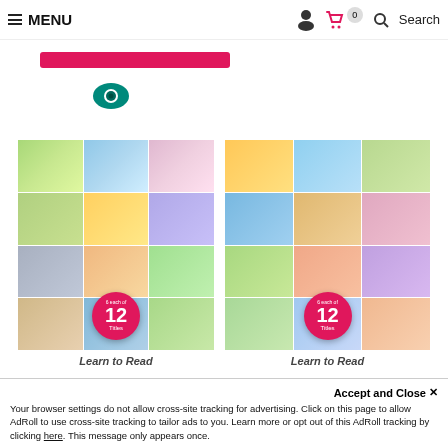MENU | Search
[Figure (screenshot): Red bar element (partial UI element)]
[Figure (other): Eye/visibility icon (teal circle with eye symbol)]
[Figure (photo): Learn to Read book set collage – 12 Titles, left product]
[Figure (photo): Learn to Read book set collage – 12 Titles, right product]
Learn to Read
Learn to Read
Accept and Close ×
Your browser settings do not allow cross-site tracking for advertising. Click on this page to allow AdRoll to use cross-site tracking to tailor ads to you. Learn more or opt out of this AdRoll tracking by clicking here. This message only appears once.